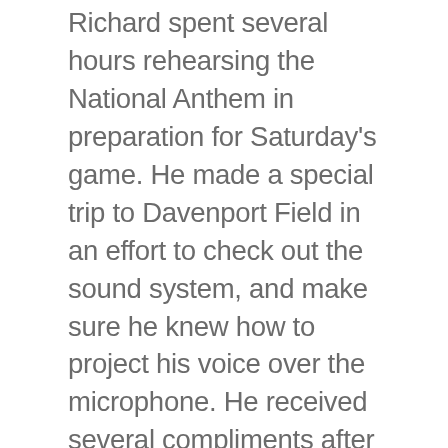Richard spent several hours rehearsing the National Anthem in preparation for Saturday's game. He made a special trip to Davenport Field in an effort to check out the sound system, and make sure he knew how to project his voice over the microphone. He received several compliments after singing and in fact we are having him back for this Saturday's game. Once the game began Richard helped with the PTK and golf team fund raising efforts (neither of which he is a member) by selling raffle tickets and helping out in the announcing booth. He also announced a portion of the game and will do so again this week. He is the student we are looking for at GMC –